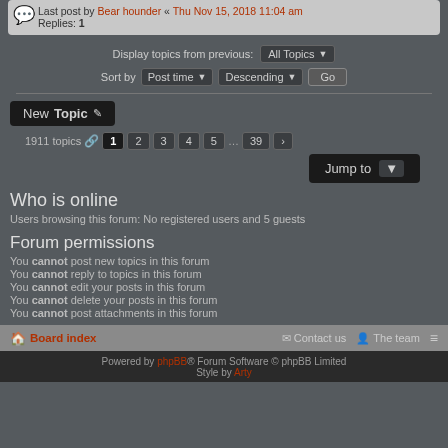Last post by Bear hounder « Thu Nov 15, 2018 11:04 am
Replies: 1
Display topics from previous: All Topics
Sort by Post time Descending Go
New Topic
1911 topics  1 2 3 4 5 … 39 >
Jump to
Who is online
Users browsing this forum: No registered users and 5 guests
Forum permissions
You cannot post new topics in this forum
You cannot reply to topics in this forum
You cannot edit your posts in this forum
You cannot delete your posts in this forum
You cannot post attachments in this forum
Board index   Contact us   The team
Powered by phpBB® Forum Software © phpBB Limited  Style by Arty